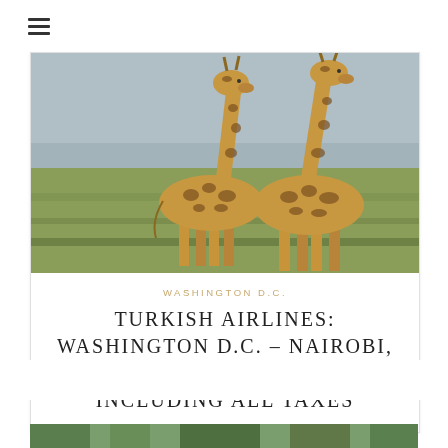≡
[Figure (photo): Two giraffes standing in an open savanna grassland with a flat horizon and hazy sky background. Kenya safari setting.]
WASHINGTON D.C.
TURKISH AIRLINES: WASHINGTON D.C. – NAIROBI, KENYA. $902. ROUNDTRIP, INCLUDING ALL TAXES
[Figure (photo): Partial view of a second article card showing trees, partially cut off at the bottom of the page.]